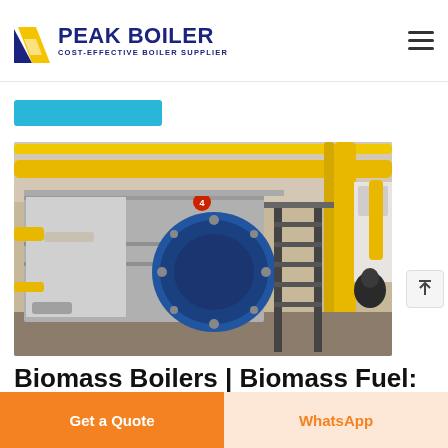PEAK BOILER COST-EFFECTIVE BOILER SUPPLIER
[Figure (photo): Industrial biomass boiler unit inside a factory with yellow pipes and metal staircase. A large blue circular burner is visible on the front of the boiler.]
Biomass Boilers | Biomass Fuel: Types,
Get a Quote
WhatsApp